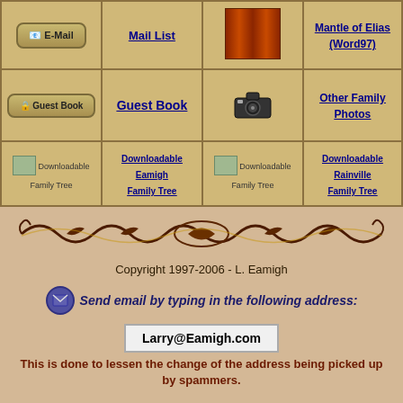| Icon | Link | Icon | Link |
| --- | --- | --- | --- |
| E-Mail button | Mail List | Books image | Mantle of Elias (Word97) |
| Guest Book button | Guest Book | Camera icon | Other Family Photos |
| Downloadable Family Tree image | Downloadable Eamigh Family Tree | Downloadable Family Tree image | Downloadable Rainville Family Tree |
[Figure (illustration): Decorative ornamental divider with scrollwork and flourishes in dark brown/gold on tan background]
Copyright 1997-2006 - L. Eamigh
Send email by typing in the following address:
Larry@Eamigh.com
This is done to lessen the change of the address being picked up by spammers.